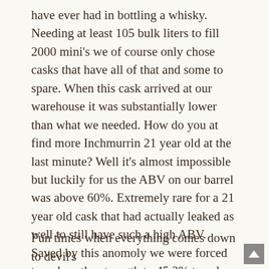have ever had in bottling a whisky. Needing at least 105 bulk liters to fill 2000 mini's we of course only chose casks that have all of that and some to spare. When this cask arrived at our warehouse it was substantially lower than what we needed. How do you at find more Inchmurrin 21 year old at the last minute? Well it's almost impossible but luckily for us the ABV on our barrel was above 60%. Extremely rare for a 21 year old cask that had actually leaked as well to still have such a high ABV. Saved by this anomoly we were forced to reduce the strength to 45.2% to eek out enough whisky for all the calendars. This little hiccup believe it or not almost caused everyone to miss out on getting their calendars altogether.
Fun times when everything comes down to devil's